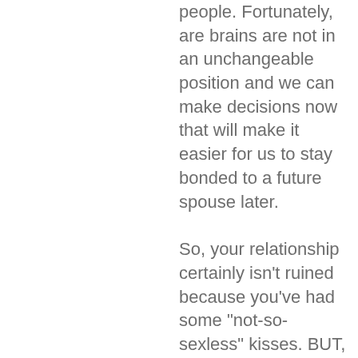people. Fortunately, are brains are not in an unchangeable position and we can make decisions now that will make it easier for us to stay bonded to a future spouse later.
So, your relationship certainly isn't ruined because you've had some "not-so-sexless" kisses. BUT, your future marriage (to whomever it might be) will greatly benefit from your decision to scale back your physicality in your